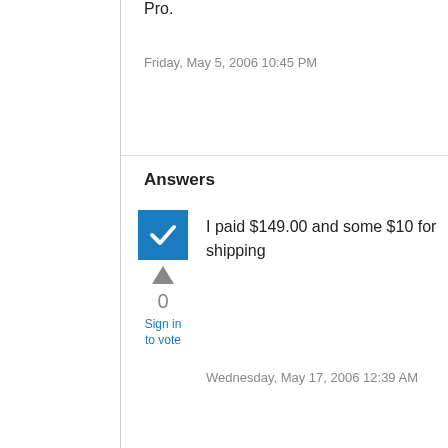Pro.
Friday, May 5, 2006 10:45 PM
Answers
[Figure (other): Blue checkbox with white checkmark indicating accepted answer]
0
Sign in to vote
I paid $149.00 and some $10 for shipping
Wednesday, May 17, 2006 12:39 AM